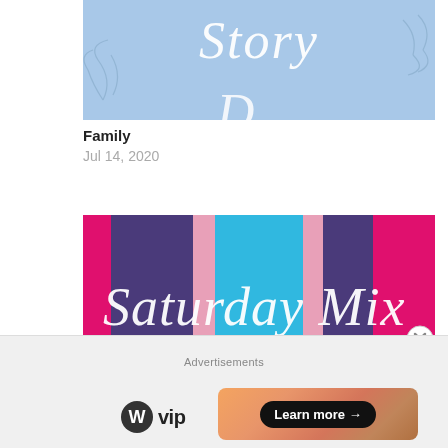[Figure (illustration): Light blue banner image with script text 'Story' and decorative leaf/branch elements, cropped at bottom]
Family
Jul 14, 2020
[Figure (illustration): Saturday Mix with Sara graphic — colorful vertical stripes in hot pink, purple, cyan, light pink — with white script text 'Saturday Mix' and 'with Sara' in white sans-serif]
A Tale – Friendship!
Jun 28, 2020
Advertisements
[Figure (logo): WordPress W circle logo followed by bold text 'vip']
[Figure (illustration): Orange/peach gradient ad banner with a dark 'Learn more →' button]